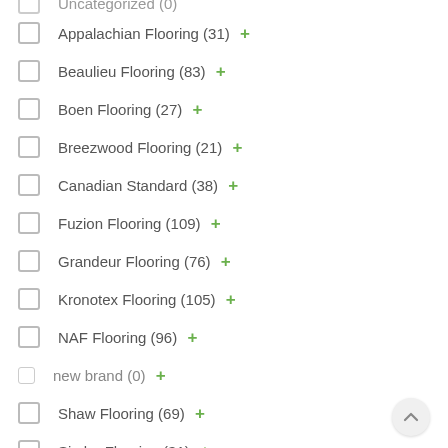Uncategorized (0)
Appalachian Flooring (31) +
Beaulieu Flooring (83) +
Boen Flooring (27) +
Breezwood Flooring (21) +
Canadian Standard (38) +
Fuzion Flooring (109) +
Grandeur Flooring (76) +
Kronotex Flooring (105) +
NAF Flooring (96) +
new brand (0) +
Shaw Flooring (69) +
Simba Flooring (31) +
Tosca Flooring (60) +